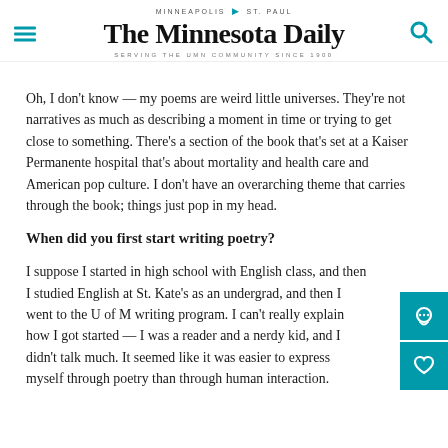MINNEAPOLIS | ST. PAUL — THE MINNESOTA DAILY — SERVING THE UMN COMMUNITY SINCE 1900
Oh, I don't know — my poems are weird little universes. They're not narratives as much as describing a moment in time or trying to get close to something. There's a section of the book that's set at a Kaiser Permanente hospital that's about mortality and health care and American pop culture. I don't have an overarching theme that carries through the book; things just pop in my head.
When did you first start writing poetry?
I suppose I started in high school with English class, and then I studied English at St. Kate's as an undergrad, and then I went to the U of M writing program. I can't really explain how I got started — I was a reader and a nerdy kid, and I didn't talk much. It seemed like it was easier to express myself through poetry than through human interaction.